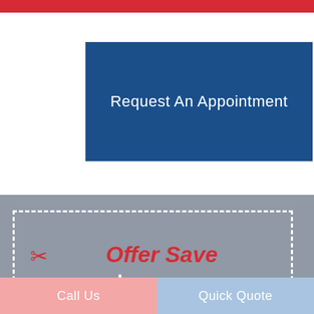[Figure (other): Red horizontal bar at top of page]
Request An Appointment
[Figure (infographic): Coupon section with gray background, dashed white border, red scissors icon, red 'Offer Save' text, and large white '$55' text]
Call Us
Quick Quote